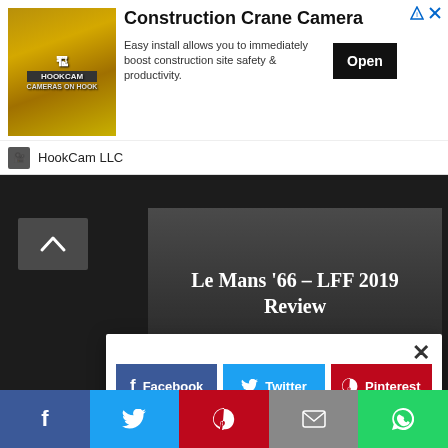[Figure (screenshot): Advertisement banner for HookCam LLC - Construction Crane Camera app with crane image, title, description, and Open button]
HookCam LLC
Le Mans '66 – LFF 2019 Review
Rory Steabler   October 10, 2019
FACEBOOK
[Figure (screenshot): Social share modal popup with Facebook, Twitter, Pinterest buttons and close X button]
[Figure (screenshot): Bottom social sharing bar with Facebook, Twitter, Pinterest, Email, and WhatsApp icons]